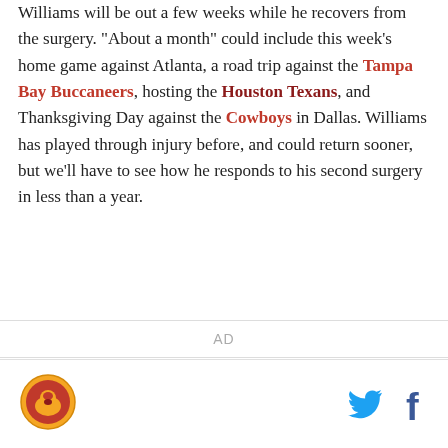Williams will be out a few weeks while he recovers from the surgery. "About a month" could include this week's home game against Atlanta, a road trip against the Tampa Bay Buccaneers, hosting the Houston Texans, and Thanksgiving Day against the Cowboys in Dallas. Williams has played through injury before, and could return sooner, but we'll have to see how he responds to his second surgery in less than a year.
AD
[Figure (logo): Sports team logo in a circular icon — orange and gold circular emblem]